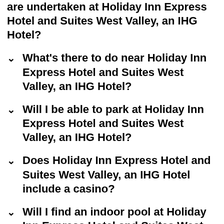are undertaken at Holiday Inn Express Hotel and Suites West Valley, an IHG Hotel?
What's there to do near Holiday Inn Express Hotel and Suites West Valley, an IHG Hotel?
Will I be able to park at Holiday Inn Express Hotel and Suites West Valley, an IHG Hotel?
Does Holiday Inn Express Hotel and Suites West Valley, an IHG Hotel include a casino?
Will I find an indoor pool at Holiday Inn Express Hotel and Suites West Valley, an IHG Hotel?
What will couples enjoy most about a stay at Holiday Inn Express Hotel and Suites West Valley,